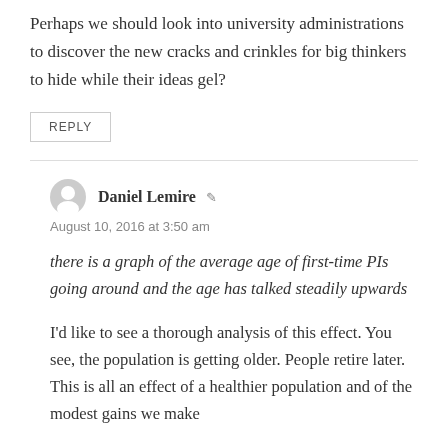Perhaps we should look into university administrations to discover the new cracks and crinkles for big thinkers to hide while their ideas gel?
REPLY
Daniel Lemire
August 10, 2016 at 3:50 am
there is a graph of the average age of first-time PIs going around and the age has talked steadily upwards
I'd like to see a thorough analysis of this effect. You see, the population is getting older. People retire later. This is all an effect of a healthier population and of the modest gains we make